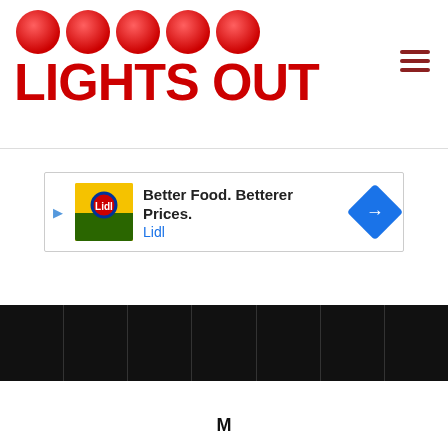[Figure (logo): Lights Out logo with five red glowing dots above bold red text 'LIGHTS OUT']
[Figure (infographic): Hamburger menu icon (three horizontal red-brown bars)]
[Figure (screenshot): Advertisement banner: 'Better Food. Betterer Prices. Lidl' with Lidl logo image and blue arrow icon]
[Figure (photo): Dark filmstrip / thumbnail row showing multiple black rectangular cells]
M